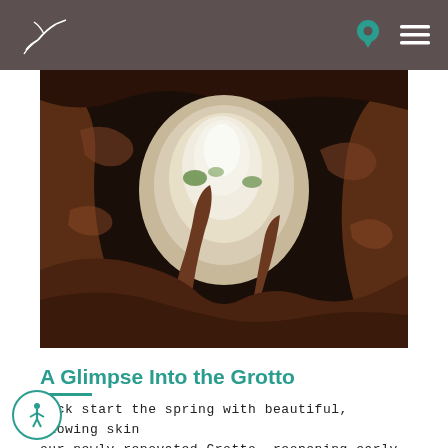Glen Ivy Spa header with logo, location pin, and menu icon
[Figure (photo): Interior of a cave/grotto with rocky walls, a bright opening in the background letting in light, and green foliage visible. Warm brown tones throughout.]
A Glimpse Into the Grotto
Kick start the spring with beautiful, glowing skin our newly renovated Grotto, reopening early rch! One of Glen Ivy's most beloved treatments, The Grotto is a unique, deeply